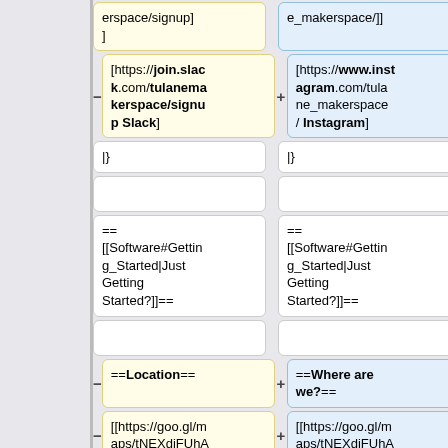erspace/signup]]
e_makerspace/]]
[https://join.slack.com/tulanemakerspace/signup Slack]
[https://www.instagram.com/tulane_makerspace/ Instagram]
|}
|}
== [[Software#Getting_Started|Just Getting Started?]]==
== [[Software#Getting_Started|Just Getting Started?]]==
==Location==
==Where are we?==
[[https://goo.gl/maps/tNEXdiFUhA
[[https://goo.gl/maps/tNEXdiFUhA